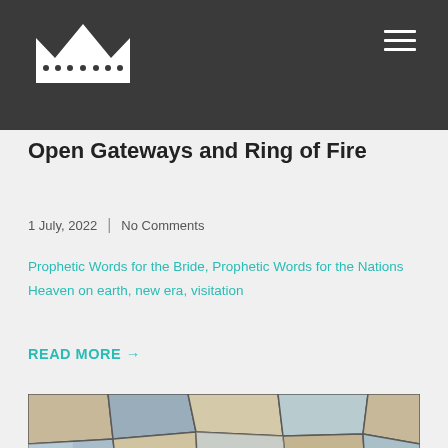Crown logo and navigation menu
Open Gateways and Ring of Fire
1 July, 2022 | No Comments
Prophetic Words for the Bride, Prophetic Words for the Nations
Heaven on earth, new era, visitation
READ MORE →
[Figure (photo): Stone wall texture — irregularly shaped natural stones in beige, grey and tan colors, dry-stacked masonry]